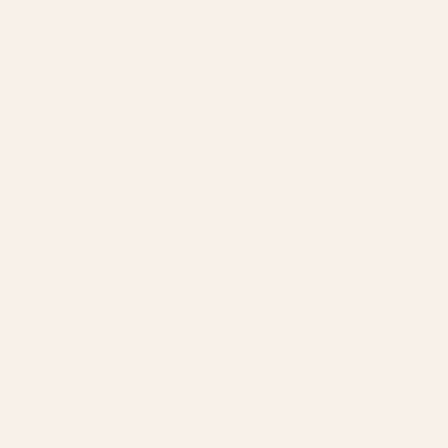Entered Soy Candles jessicaannewilde at gm
JANUARY 17, 20
65. Jessica said...
Entered EcoMom jessicaannewilde at gm
JANUARY 17, 20
66. Jessica said...
Entered Hadaki jessicaannewilde at gm
JANUARY 17, 20
67. Megan said...
My daughter loves Kle
meganlovesgiveaways
JANUARY 18, 20
68. said...